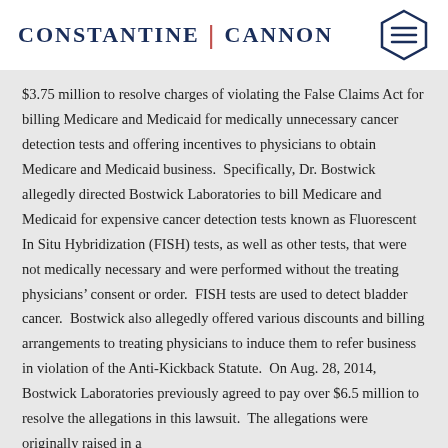CONSTANTINE | CANNON
$3.75 million to resolve charges of violating the False Claims Act for billing Medicare and Medicaid for medically unnecessary cancer detection tests and offering incentives to physicians to obtain Medicare and Medicaid business.  Specifically, Dr. Bostwick allegedly directed Bostwick Laboratories to bill Medicare and Medicaid for expensive cancer detection tests known as Fluorescent In Situ Hybridization (FISH) tests, as well as other tests, that were not medically necessary and were performed without the treating physicians’ consent or order.  FISH tests are used to detect bladder cancer.  Bostwick also allegedly offered various discounts and billing arrangements to treating physicians to induce them to refer business in violation of the Anti-Kickback Statute.  On Aug. 28, 2014, Bostwick Laboratories previously agreed to pay over $6.5 million to resolve the allegations in this lawsuit.  The allegations were originally raised in a